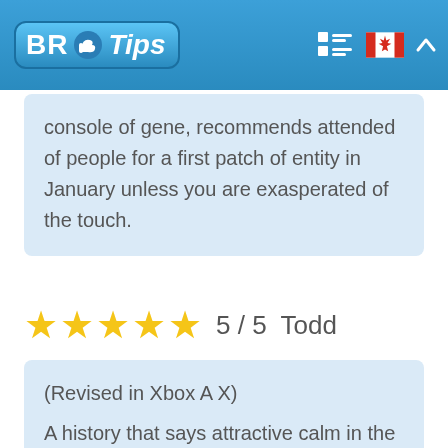BR Tips
console of gene, recommends attended of people for a first patch of entity in January unless you are exasperated of the touch.
5 / 5  Todd
(Revised in Xbox A X)
A history that says attractive calm in the one of the east dystopian the world-wide that resupplies the history that says near of this expósito at stake of naughty dog eg: a last of knots.
Has technical defects when it comes the action this current time, but looking behind in this history...